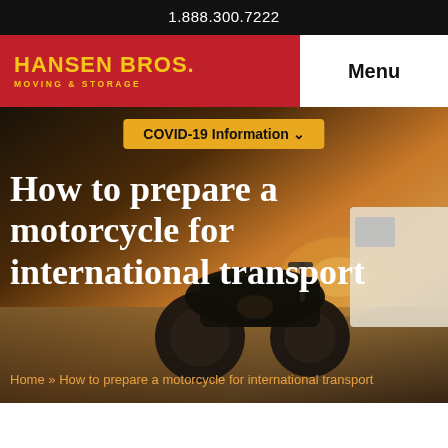1.888.300.7222
[Figure (logo): Hansen Bros. Moving & Storage logo on red background]
Menu
COVID-19 Information ▾
How to prepare a motorcycle for international transport
Home » How to prepare a motorcycle for international transport